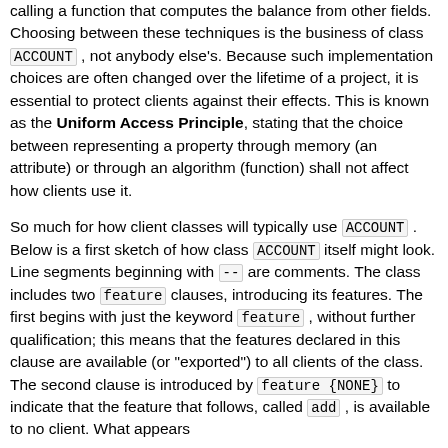calling a function that computes the balance from other fields. Choosing between these techniques is the business of class ACCOUNT , not anybody else's. Because such implementation choices are often changed over the lifetime of a project, it is essential to protect clients against their effects. This is known as the Uniform Access Principle, stating that the choice between representing a property through memory (an attribute) or through an algorithm (function) shall not affect how clients use it.
So much for how client classes will typically use ACCOUNT . Below is a first sketch of how class ACCOUNT itself might look. Line segments beginning with -- are comments. The class includes two feature clauses, introducing its features. The first begins with just the keyword feature , without further qualification; this means that the features declared in this clause are available (or "exported") to all clients of the class. The second clause is introduced by feature {NONE} to indicate that the feature that follows, called add , is available to no client. What appears